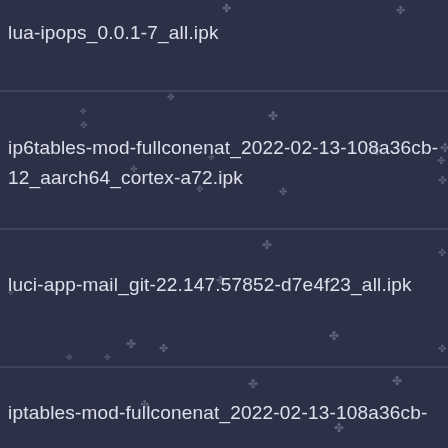lua-ipops_0.0.1-7_all.ipk
ip6tables-mod-fullconenat_2022-02-13-108a36cb-12_aarch64_cortex-a72.ipk
luci-app-mail_git-22.147.57852-d7e4f23_all.ipk
iptables-mod-fullconenat_2022-02-13-108a36cb-